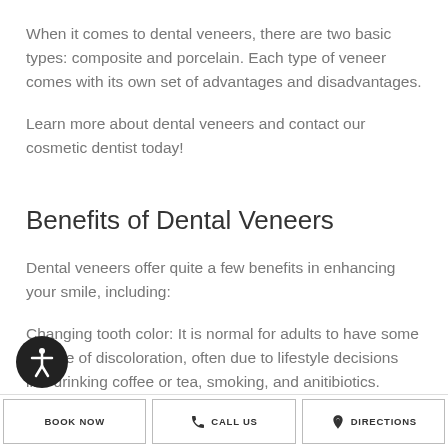When it comes to dental veneers, there are two basic types: composite and porcelain. Each type of veneer comes with its own set of advantages and disadvantages.
Learn more about dental veneers and contact our cosmetic dentist today!
Benefits of Dental Veneers
Dental veneers offer quite a few benefits in enhancing your smile, including:
Changing tooth color: It is normal for adults to have some degree of discoloration, often due to lifestyle decisions like drinking coffee or tea, smoking, and anitibiotics. Unfortunately, over-the-counter whitening treatments are ineffective for most people. That's why consulting with a cosmetic dentist is best to
BOOK NOW | CALL US | DIRECTIONS